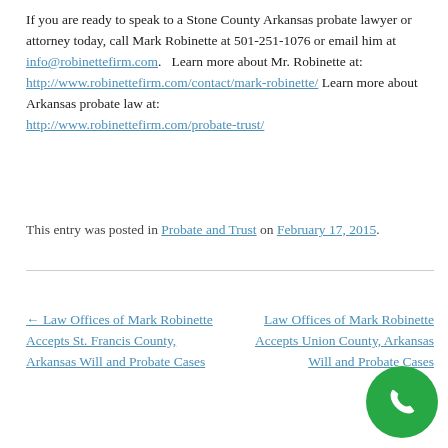If you are ready to speak to a Stone County Arkansas probate lawyer or attorney today, call Mark Robinette at 501-251-1076 or email him at info@robinettefirm.com.   Learn more about Mr. Robinette at: http://www.robinettefirm.com/contact/mark-robinette/ Learn more about Arkansas probate law at: http://www.robinettefirm.com/probate-trust/
This entry was posted in Probate and Trust on February 17, 2015.
← Law Offices of Mark Robinette Accepts St. Francis County, Arkansas Will and Probate Cases
Law Offices of Mark Robinette Accepts Union County, Arkansas Will and Probate Cases